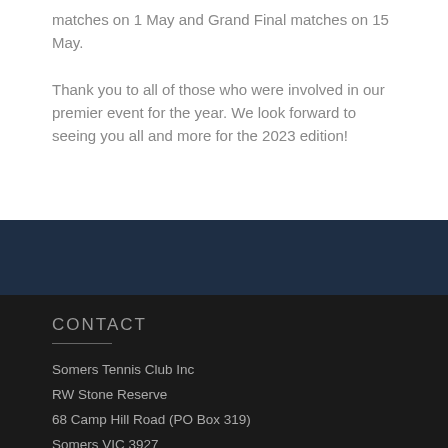matches on 1 May and Grand Final matches on 15 May.

Thank you to all of those who were involved in our premier event for the year. We look forward to seeing you all and more for the 2023 edition!
CONTACT
Somers Tennis Club Inc
RW Stone Reserve
68 Camp Hill Road (PO Box 319)
Somers VIC 3927